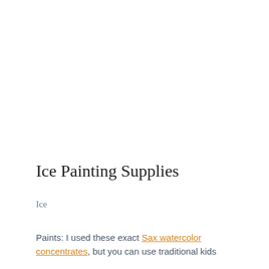Ice Painting Supplies
Ice
Paints: I used these exact Sax watercolor concentrates, but you can use traditional kids